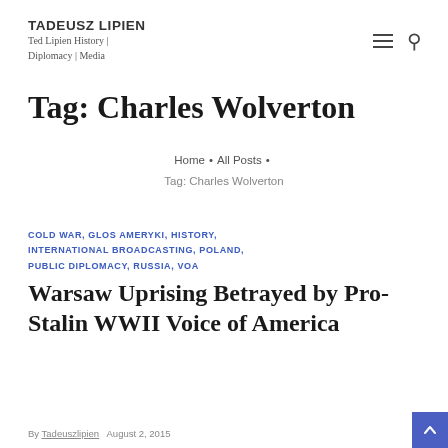TADEUSZ LIPIEN
Ted Lipien History | Diplomacy | Media
Tag: Charles Wolverton
Home • All Posts • Tag: Charles Wolverton
COLD WAR, GLOS AMERYKI, HISTORY, INTERNATIONAL BROADCASTING, POLAND, PUBLIC DIPLOMACY, RUSSIA, VOA
Warsaw Uprising Betrayed by Pro-Stalin WWII Voice of America
By Tadeuszlipien August 2, 2015